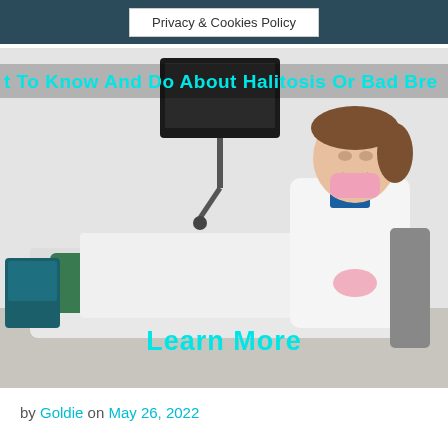Privacy & Cookies Policy
[Figure (photo): Dental office scene: a smiling female dentist in white coat with blue collar and pink mask pulled down, treating a female patient reclined in a dental chair wearing a green bib. Text overlay reads 'What To Know And Do About Halitosis Or Bad Breath' and 'Learn More' in teal/cyan color.]
by Goldie on May 26, 2022